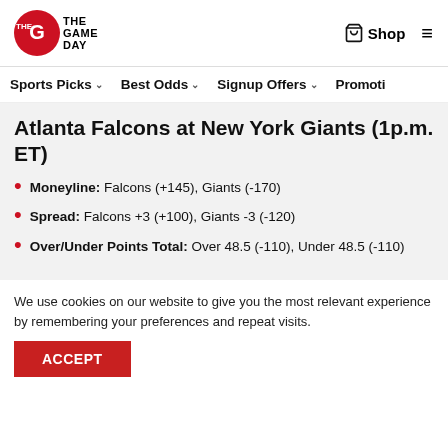The Game Day — Shop | Menu
Sports Picks ˅   Best Odds ˅   Signup Offers ˅   Promoti…
Atlanta Falcons at New York Giants (1p.m. ET)
Moneyline: Falcons (+145), Giants (-170)
Spread: Falcons +3 (+100), Giants -3 (-120)
Over/Under Points Total: Over 48.5 (-110), Under 48.5 (-110)
We use cookies on our website to give you the most relevant experience by remembering your preferences and repeat visits.
ACCEPT